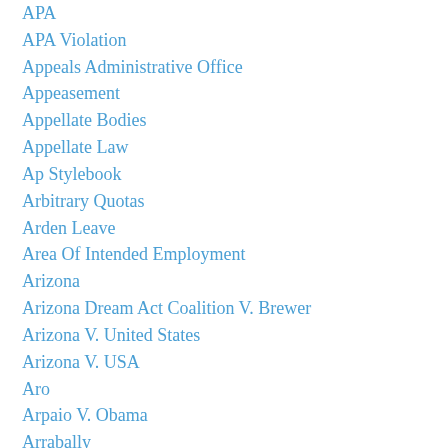APA
APA Violation
Appeals Administrative Office
Appeasement
Appellate Bodies
Appellate Law
Ap Stylebook
Arbitrary Quotas
Arden Leave
Area Of Intended Employment
Arizona
Arizona Dream Act Coalition V. Brewer
Arizona V. United States
Arizona V. USA
Aro
Arpaio V. Obama
Arrabally
ART
Artificial Reproductive Technology
Assembly Bill 103
Assembly Bill 263